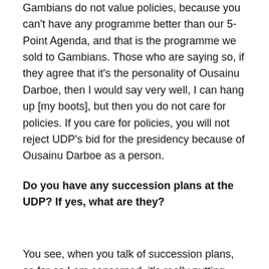Gambians do not value policies, because you can't have any programme better than our 5-Point Agenda, and that is the programme we sold to Gambians. Those who are saying so, if they agree that it's the personality of Ousainu Darboe, then I would say very well, I can hang up [my boots], but then you do not care for policies. If you care for policies, you will not reject UDP's bid for the presidency because of Ousainu Darboe as a person.
Do you have any succession plans at the UDP? If yes, what are they?
You see, when you talk of succession plans, as far as I am concerned, it's really putting yourself in a position that is condescending. People selected me, so, I cannot and I should not be seen to be saying that I want Almami Taal to